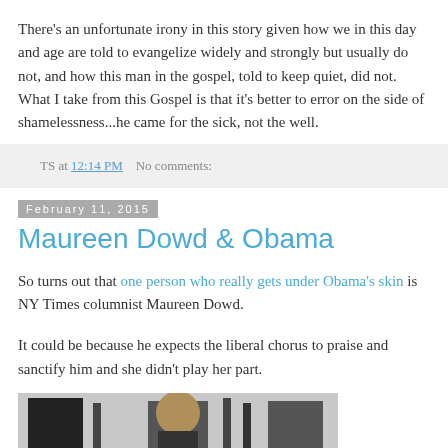There's an unfortunate irony in this story given how we in this day and age are told to evangelize widely and strongly but usually do not, and how this man in the gospel, told to keep quiet, did not.  What I take from this Gospel is that it's better to error on the side of shamelessness...he came for the sick, not the well.
TS at 12:14 PM    No comments:
February 11, 2015
Maureen Dowd & Obama
So turns out that one person who really gets under Obama's skin is NY Times columnist Maureen Dowd.
It could be because he expects the liberal chorus to praise and sanctify him and she didn't play her part.
[Figure (photo): Partial image of people, cropped at bottom of page]